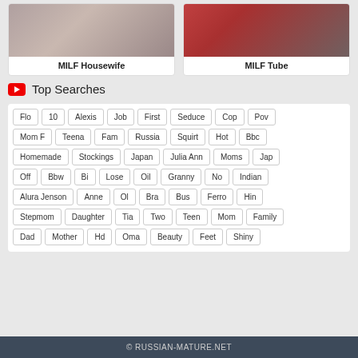[Figure (photo): MILF Housewife thumbnail image]
MILF Housewife
[Figure (photo): MILF Tube thumbnail image]
MILF Tube
Top Searches
Flo
10
Alexis
Job
First
Seduce
Cop
Pov
Mom F
Teena
Fam
Russia
Squirt
Hot
Bbc
Homemade
Stockings
Japan
Julia Ann
Moms
Jap
Off
Bbw
Bi
Lose
Oil
Granny
No
Indian
Alura Jenson
Anne
Ol
Bra
Bus
Ferro
Hin
Stepmom
Daughter
Tia
Two
Teen
Mom
Family
Dad
Mother
Hd
Oma
Beauty
Feet
Shiny
© RUSSIAN-MATURE.NET